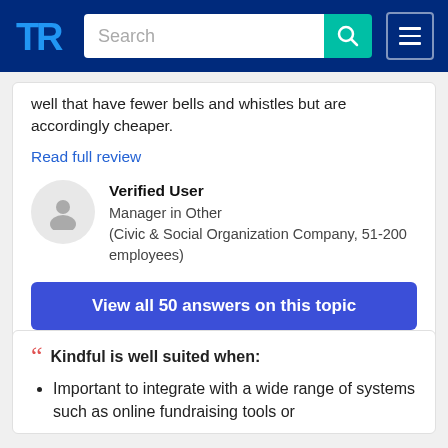TrustRadius navigation bar with logo, search, and menu
well that have fewer bells and whistles but are accordingly cheaper.
Read full review
Verified User
Manager in Other
(Civic & Social Organization Company, 51-200 employees)
View all 50 answers on this topic
Kindful is well suited when:
Important to integrate with a wide range of systems such as online fundraising tools or